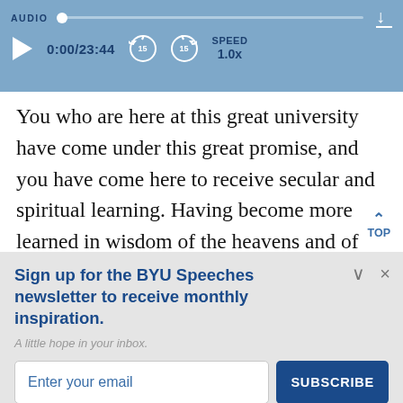[Figure (screenshot): Audio player bar with play button, time display 0:00/23:44, skip back 15s, skip forward 15s, speed 1.0x, and download button]
You who are here at this great university have come under this great promise, and you have come here to receive secular and spiritual learning. Having become more learned in wisdom of the heavens and of the earth, t…
Sign up for the BYU Speeches newsletter to receive monthly inspiration.
A little hope in your inbox.
Enter your email
SUBSCRIBE